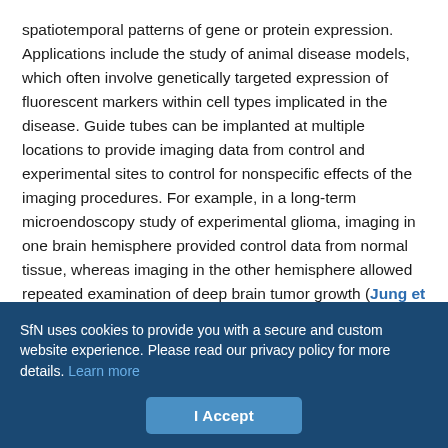spatiotemporal patterns of gene or protein expression. Applications include the study of animal disease models, which often involve genetically targeted expression of fluorescent markers within cell types implicated in the disease. Guide tubes can be implanted at multiple locations to provide imaging data from control and experimental sites to control for nonspecific effects of the imaging procedures. For example, in a long-term microendoscopy study of experimental glioma, imaging in one brain hemisphere provided control data from normal tissue, whereas imaging in the other hemisphere allowed repeated examination of deep brain tumor growth (Jung et al., 2006).
Fiber optic imaging technology offers the possibility of imaging cells
SfN uses cookies to provide you with a secure and custom website experience. Please read our privacy policy for more details. Learn more